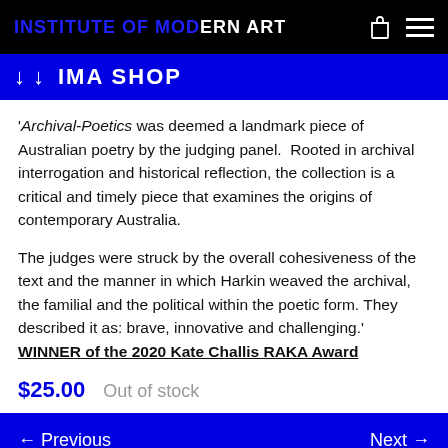INSTITUTE OF MODERN ART
↓ ↓ IMA SHOP
'Archival-Poetics was deemed a landmark piece of Australian poetry by the judging panel.  Rooted in archival interrogation and historical reflection, the collection is a critical and timely piece that examines the origins of contemporary Australia.
The judges were struck by the overall cohesiveness of the text and the manner in which Harkin weaved the archival, the familial and the political within the poetic form. They described it as: brave, innovative and challenging.' WINNER of the 2020 Kate Challis RAKA Award
$25.00   Out of stock
← Previous   Next →
Related Items